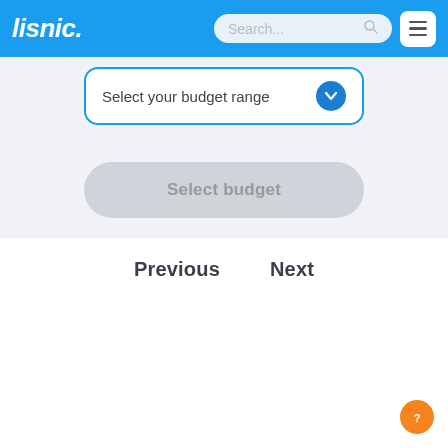lisnic.
Select your budget range
Select budget
Previous   Next